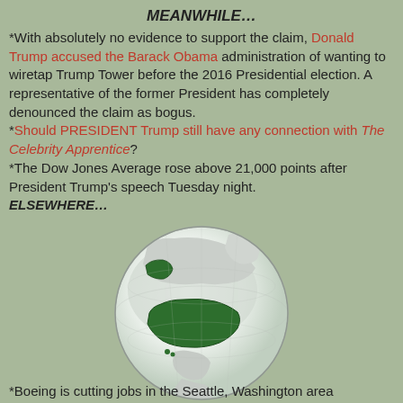MEANWHILE…
*With absolutely no evidence to support the claim, Donald Trump accused the Barack Obama administration of wanting to wiretap Trump Tower before the 2016 Presidential election. A representative of the former President has completely denounced the claim as bogus.
*Should PRESIDENT Trump still have any connection with The Celebrity Apprentice?
*The Dow Jones Average rose above 21,000 points after President Trump's speech Tuesday night.
ELSEWHERE…
[Figure (illustration): Globe showing North America with the United States highlighted in dark green, against a white/light grey globe background.]
*Boeing is cutting jobs in the Seattle, Washington area